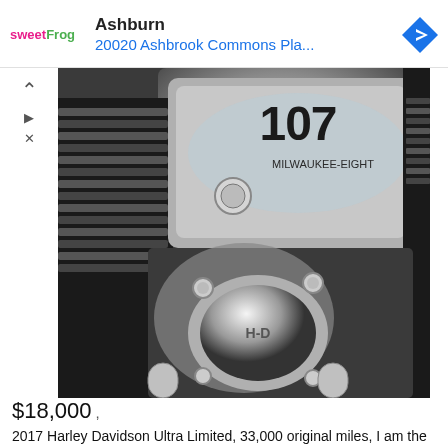[Figure (logo): sweetFrog logo with pink 'sweet' and green 'Frog' text]
Ashburn
20020 Ashbrook Commons Pla...
[Figure (illustration): Blue diamond navigation/directions icon with right-turn arrow]
[Figure (photo): Close-up photo of Harley Davidson Milwaukee 8 107 engine, showing chrome components, air cleaner with '107' marking, and V-twin engine parts]
$18,000
2017 Harley Davidson Ultra Limited, 33,000 original miles, I am the original owner, all service done by Harley Davidson Dealership. Has a superior Blue over billet silver paint, Twin cooled 107 Milwaukee 8, 43 mpg, one